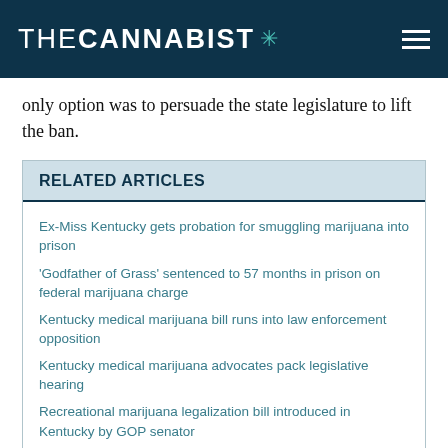THECANNABIST *
only option was to persuade the state legislature to lift the ban.
RELATED ARTICLES
Ex-Miss Kentucky gets probation for smuggling marijuana into prison
'Godfather of Grass' sentenced to 57 months in prison on federal marijuana charge
Kentucky medical marijuana bill runs into law enforcement opposition
Kentucky medical marijuana advocates pack legislative hearing
Recreational marijuana legalization bill introduced in Kentucky by GOP senator
“The Bevin Administration applauds Judge Wingate’s